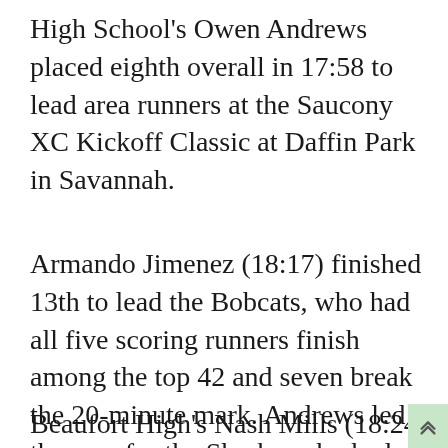High School's Owen Andrews placed eighth overall in 17:58 to lead area runners at the Saucony XC Kickoff Classic at Daffin Park in Savannah.
Armando Jimenez (18:17) finished 13th to lead the Bobcats, who had all five scoring runners finish among the top 42 and seven break the 20-minute mark. Andrews led the way for the Sharks, who had four runners under 20 minutes.
Beaufort High's Nash Mills (18:24) finished 15th, and teammate Marlon